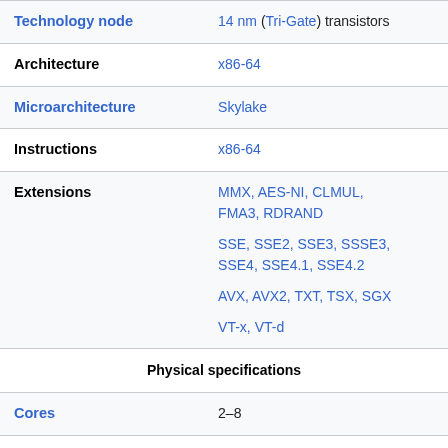| Property | Value |
| --- | --- |
| Technology node | 14 nm (Tri-Gate) transistors |
| Architecture | x86-64 |
| Microarchitecture | Skylake |
| Instructions | x86-64 |
| Extensions | MMX, AES-NI, CLMUL, FMA3, RDRAND
SSE, SSE2, SSE3, SSSE3, SSE4, SSE4.1, SSE4.2
AVX, AVX2, TXT, TSX, SGX
VT-x, VT-d |
| Physical specifications |  |
| Cores | 2–8 |
| GPU(s) | GT2, GT3e |